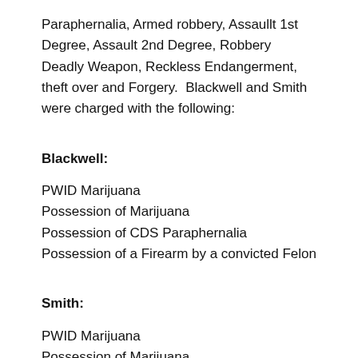Paraphernalia, Armed robbery, Assaullt 1st Degree, Assault 2nd Degree, Robbery Deadly Weapon, Reckless Endangerment, theft over and Forgery.  Blackwell and Smith were charged with the following:
Blackwell:
PWID Marijuana
Possession of Marijuana
Possession of CDS Paraphernalia
Possession of a Firearm by a convicted Felon
Smith:
PWID Marijuana
Possession of Marijuana